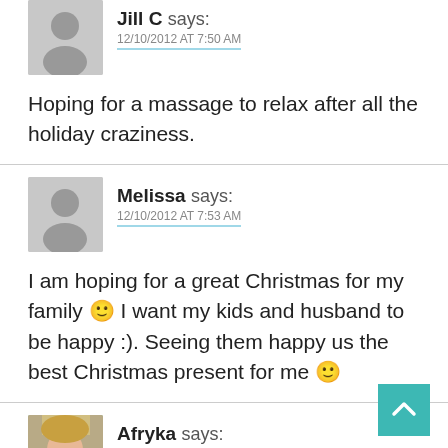Jill C says:
12/10/2012 AT 7:50 AM
Hoping for a massage to relax after all the holiday craziness.
Melissa says:
12/10/2012 AT 7:53 AM
I am hoping for a great Christmas for my family 🙂 I want my kids and husband to be happy :). Seeing them happy us the best Christmas present for me 🙂
Afryka says:
12/10/2012 AT 8:02 AM
It is a partial text line cut off at bottom